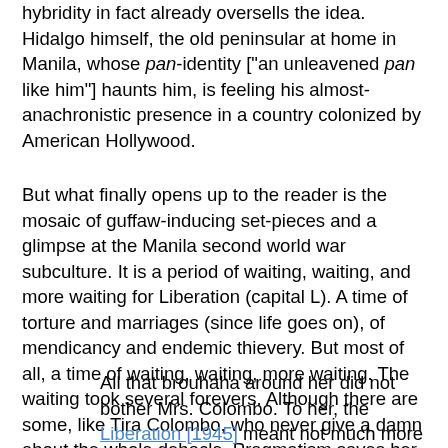hybridity in fact already oversells the idea. Hidalgo himself, the old peninsular at home in Manila, whose pan-identity ["an unleavened pan like him"] haunts him, is feeling his almost-anachronistic presence in a country colonized by American Hollywood.
But what finally opens up to the reader is the mosaic of guffaw-inducing set-pieces and a glimpse at the Manila second world war subculture. It is a period of waiting, waiting, and more waiting for Liberation (capital L). A time of torture and marriages (since life goes on), of mendicancy and endemic thievery. But most of all, a time of waiting, waiting, more waiting. The waiting took several forevers. Although there are some, like Tira Colombo, who never give a damn about the whole debacle. Pragmatism saves her from the boredom of waiting.
All that brouhaha around her did not bother Mrs. Colombo. To her, the Liberation [1945] meant not much more than an extra chupa of rice, perhaps some fresh eggs. Politics, government, religion—